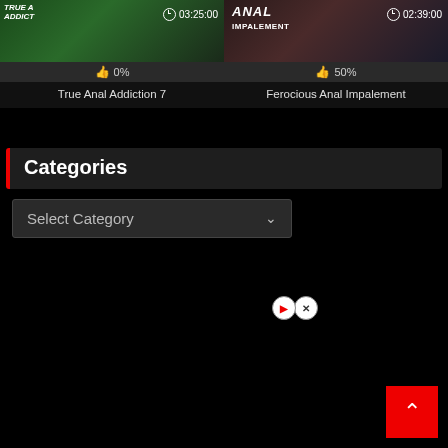[Figure (screenshot): Video thumbnail for True Anal Addiction 7 with duration 03:25:00 and 0% like rating]
[Figure (screenshot): Video thumbnail for Ferocious Anal Impalement with duration 02:39:00 and 50% like rating]
True Anal Addiction 7
Ferocious Anal Impalement
Categories
Select Category